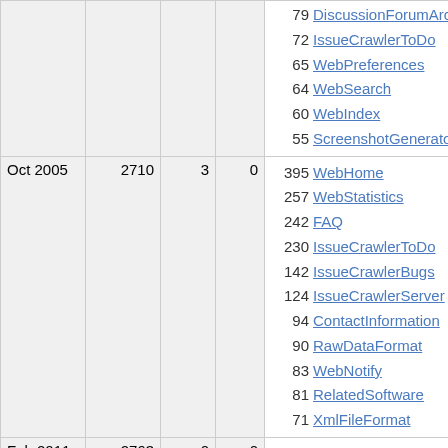| Date | Views | Col3 | Col4 | Top Pages |
| --- | --- | --- | --- | --- |
|  |  |  |  | 79 DiscussionForumArchive
72 IssueCrawlerToDo
65 WebPreferences
64 WebSearch
60 WebIndex
55 ScreenshotGenerator |
| Oct 2005 | 2710 | 3 | 0 | 395 WebHome
257 WebStatistics
242 FAQ
230 IssueCrawlerToDo
142 IssueCrawlerBugs
124 IssueCrawlerServer
94 ContactInformation
90 RawDataFormat
83 WebNotify
81 RelatedSoftware
71 XmlFileFormat |
| Feb 2011 | 2763 | 0 | 0 | 1099 WebSearch
342 IssueCelebrity
176 FAQ
166 WebHome
70 WebChanges |